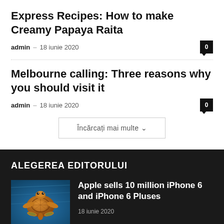Express Recipes: How to make Creamy Papaya Raita
admin – 18 iunie 2020   0
Melbourne calling: Three reasons why you should visit it
admin – 18 iunie 2020   0
Încărcați mai multe ⌄
ALEGEREA EDITORULUI
[Figure (photo): Sea turtle swimming underwater with blue ocean background]
Apple sells 10 million iPhone 6 and iPhone 6 Pluses
18 iunie 2020